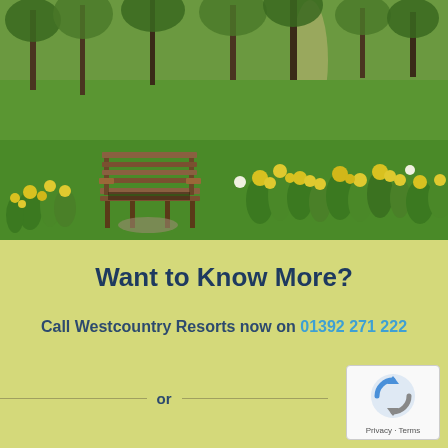[Figure (photo): Outdoor park scene with a wooden bench surrounded by yellow daffodils on a bright green lawn with trees in the background]
Want to Know More?
Call Westcountry Resorts now on 01392 271 222
or
[Figure (logo): Google reCAPTCHA badge with Privacy and Terms links]